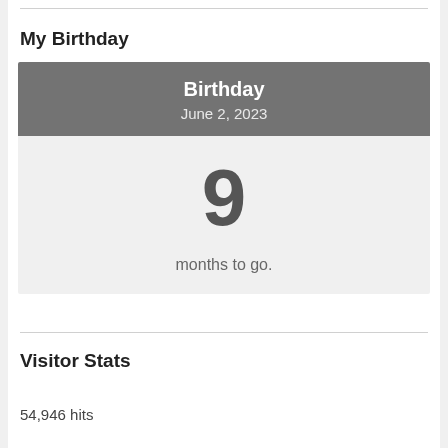My Birthday
[Figure (infographic): Birthday countdown widget showing 'Birthday' header with date June 2, 2023 and a large number 9 with text 'months to go.']
Visitor Stats
54,946 hits